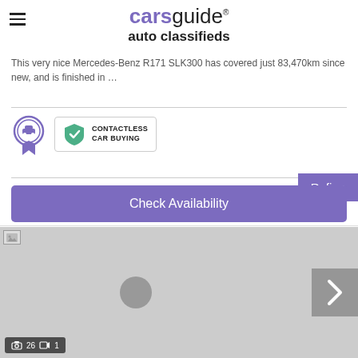carsguide® auto classifieds
This very nice Mercedes-Benz R171 SLK300 has covered just 83,470km since new, and is finished in …
[Figure (logo): Ribbon/medal badge icon with car]
[Figure (logo): Contactless Car Buying badge with green shield checkmark]
Refine
Check Availability
[Figure (photo): Grey placeholder image of a car listing with navigation arrow and photo count indicator showing 26 photos and 1 video]